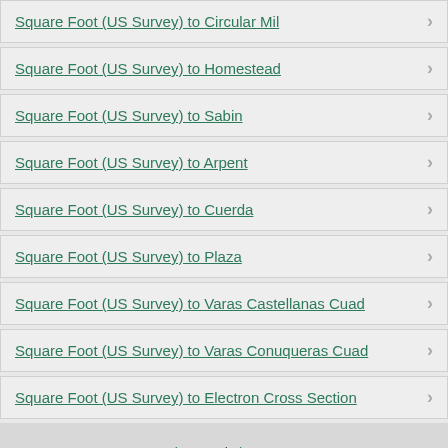Square Foot (US Survey) to Circular Mil
Square Foot (US Survey) to Homestead
Square Foot (US Survey) to Sabin
Square Foot (US Survey) to Arpent
Square Foot (US Survey) to Cuerda
Square Foot (US Survey) to Plaza
Square Foot (US Survey) to Varas Castellanas Cuad
Square Foot (US Survey) to Varas Conuqueras Cuad
Square Foot (US Survey) to Electron Cross Section
about us | sitemap
terms of use | privacy policy
© 2008 - 2022 unitconverters.net